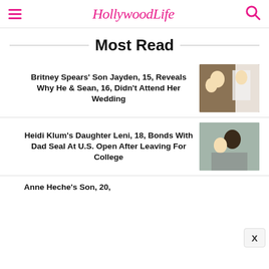HollywoodLife
Most Read
Britney Spears' Son Jayden, 15, Reveals Why He & Sean, 16, Didn't Attend Her Wedding
[Figure (photo): Photo of Britney Spears with her two sons]
Heidi Klum's Daughter Leni, 18, Bonds With Dad Seal At U.S. Open After Leaving For College
[Figure (photo): Photo of Seal with daughter Leni at U.S. Open]
Anne Heche's Son, 20,